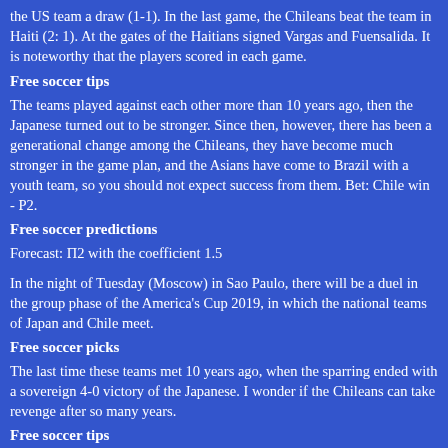the US team a draw (1-1). In the last game, the Chileans beat the team in Haiti (2: 1). At the gates of the Haitians signed Vargas and Fuensalida. It is noteworthy that the players scored in each game.
Free soccer tips
The teams played against each other more than 10 years ago, then the Japanese turned out to be stronger. Since then, however, there has been a generational change among the Chileans, they have become much stronger in the game plan, and the Asians have come to Brazil with a youth team, so you should not expect success from them. Bet: Chile win - P2.
Free soccer predictions
Forecast: П2 with the coefficient 1.5
In the night of Tuesday (Moscow) in Sao Paulo, there will be a duel in the group phase of the America's Cup 2019, in which the national teams of Japan and Chile meet.
Free soccer picks
The last time these teams met 10 years ago, when the sparring ended with a sovereign 4-0 victory of the Japanese. I wonder if the Chileans can take revenge after so many years.
Free soccer tips
The Japanese national team had a great Asian Cup in 2019 at the start of the year, losing 1-1 in the final in Qatar. Hajime Moriyasu's wards are now well again, although the results were shown against the background of weak rivals.